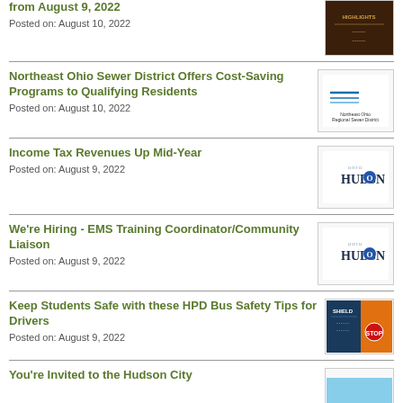from August 9, 2022
Posted on: August 10, 2022
Northeast Ohio Sewer District Offers Cost-Saving Programs to Qualifying Residents
Posted on: August 10, 2022
Income Tax Revenues Up Mid-Year
Posted on: August 9, 2022
We're Hiring - EMS Training Coordinator/Community Liaison
Posted on: August 9, 2022
Keep Students Safe with these HPD Bus Safety Tips for Drivers
Posted on: August 9, 2022
You're Invited to the Hudson City